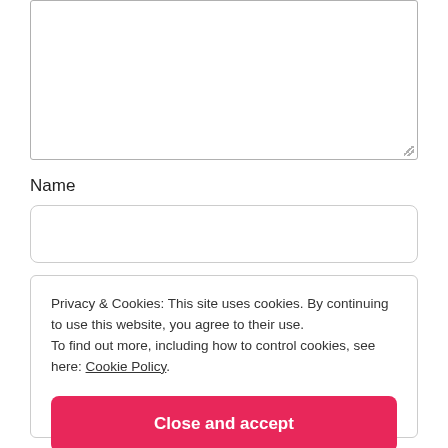[Figure (screenshot): A textarea input field with resize handle in the bottom-right corner]
Name
[Figure (screenshot): A rounded text input field for Name]
Privacy & Cookies: This site uses cookies. By continuing to use this website, you agree to their use.
To find out more, including how to control cookies, see here: Cookie Policy
Close and accept